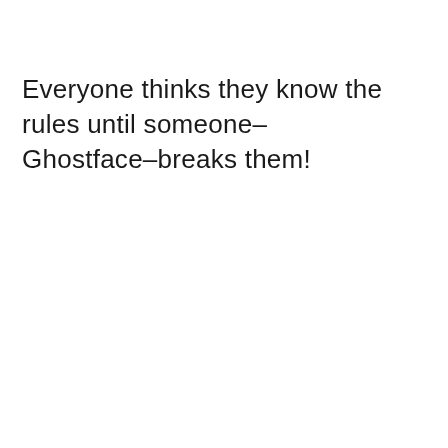Everyone thinks they know the rules until someone–Ghostface–breaks them!